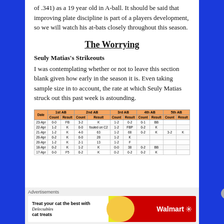of .341) as a 19 year old in A-ball. It should be said that improving plate discipline is part of a players development, so we will watch his at-bats closely throughout this season.
The Worrying
Seuly Matias's Strikeouts
I was contemplating whether or not to leave this section blank given how early in the season it is. Even taking sample size in to account, the rate at which Seuly Matias struck out this past week is astounding.
| Date | 1st AB Count | 1st AB Result | 2nd AB Count | 2nd AB Result | 3rd AB Count | 3rd AB Result | 4th AB Count | 4th AB Result | 5th AB Count | 5th AB Result |
| --- | --- | --- | --- | --- | --- | --- | --- | --- | --- | --- |
| 23-Apr | 0-0 | FB | 3-2 | K | 1-2 | 0-2 | 0-1 | BB |  |  |
| 22-Apr | 1-2 | K | 0-0 | fouled on C2 | 1-2 | FBP | 0-2 | K |  |  |
| 21-Apr | 1-2 | K | 4-0 | 63 | 1-2 | 68 | 0-2 | K | 3-2 | K |
| 20-Apr | 0-2 | K | 0-0 | 28 | 1-2 | K |  |  |  |  |
| 20-Apr | 1-2 | K | 2-1 | 13 | 1-2 | F |  |  |  |  |
| 18-Apr | 0-2 | K | 1-2 | K | 0-0 | 38 | 0-2 | BB |  |  |
| 17-Apr | 0-0 | F5 | 0-2 | K | 0-2 | 0-2 | 0-2 | K |  |  |
Advertisements
[Figure (other): Walmart Delectables cat treats advertisement banner]